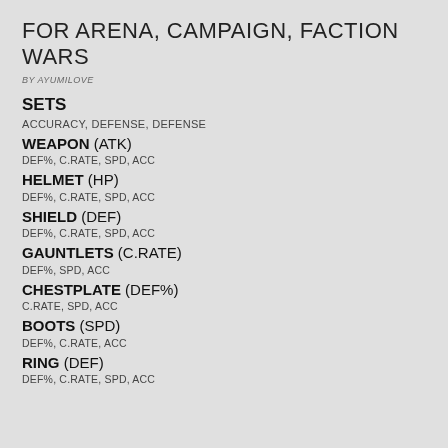FOR ARENA, CAMPAIGN, FACTION WARS
BY AYUMILOVE
SETS
ACCURACY, DEFENSE, DEFENSE
WEAPON (ATK)
DEF%, C.RATE, SPD, ACC
HELMET (HP)
DEF%, C.RATE, SPD, ACC
SHIELD (DEF)
DEF%, C.RATE, SPD, ACC
GAUNTLETS (C.RATE)
DEF%, SPD, ACC
CHESTPLATE (DEF%)
C.RATE, SPD, ACC
BOOTS (SPD)
DEF%, C.RATE, ACC
RING (DEF)
DEF%, C.RATE, SPD, ACC